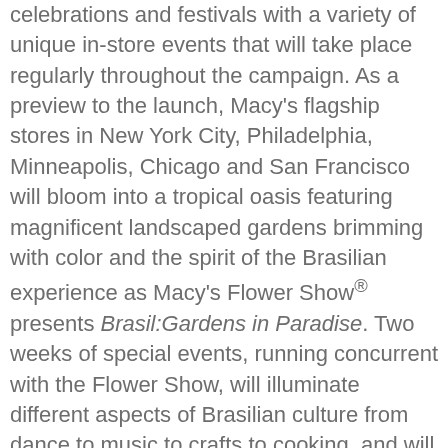celebrations and festivals with a variety of unique in-store events that will take place regularly throughout the campaign. As a preview to the launch, Macy's flagship stores in New York City, Philadelphia, Minneapolis, Chicago and San Francisco will bloom into a tropical oasis featuring magnificent landscaped gardens brimming with color and the spirit of the Brasilian experience as Macy's Flower Show® presents Brasil:Gardens in Paradise. Two weeks of special events, running concurrent with the Flower Show, will illuminate different aspects of Brasilian culture from dance to music to crafts to cooking, and will take place Sunday, March 25 through Saturday, April 7.
Brasilians and visitors from around the world wishing to